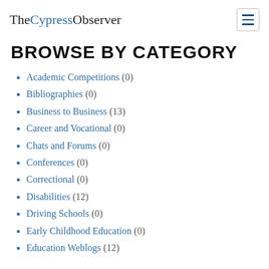TheCypressObserver
BROWSE BY CATEGORY
Academic Competitions (0)
Bibliographies (0)
Business to Business (13)
Career and Vocational (0)
Chats and Forums (0)
Conferences (0)
Correctional (0)
Disabilities (12)
Driving Schools (0)
Early Childhood Education (0)
Education Weblogs (12)